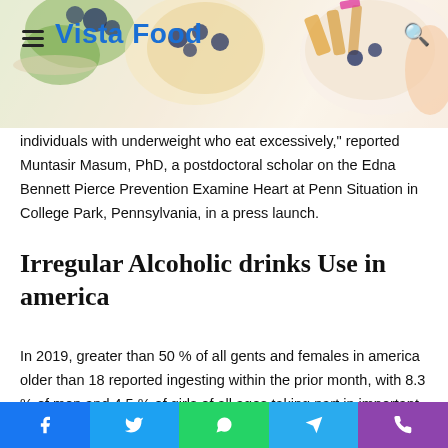Vista Food
individuals with underweight who eat excessively," reported Muntasir Masum, PhD, a postdoctoral scholar on the Edna Bennett Pierce Prevention Examine Heart at Penn Situation in College Park, Pennsylvania, in a press launch.
Irregular Alcoholic drinks Use in america
In 2019, greater than 50 % of all gents and females in america older than 18 reported ingesting within the prior month, with 8.3 % of men and 4.5 % of girls of all ages taking part in important alcohol use, in keeping with the in keeping with
Facebook  Twitter  WhatsApp  Telegram  Phone